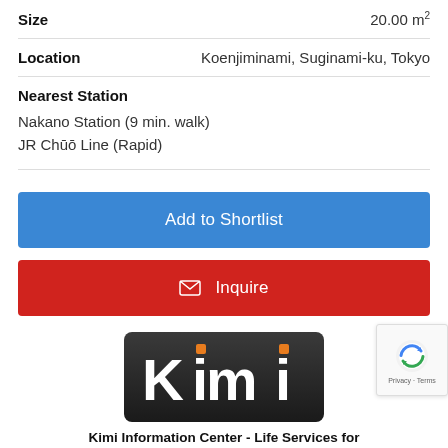| Field | Value |
| --- | --- |
| Size | 20.00 m² |
| Location | Koenjiminami, Suginami-ku, Tokyo |
Nearest Station
Nakano Station (9 min. walk)
JR Chūō Line (Rapid)
Add to Shortlist
Inquire
[Figure (logo): Kimi logo — white text on dark rounded rectangle with orange accent squares]
Kimi Information Center - Life Services for